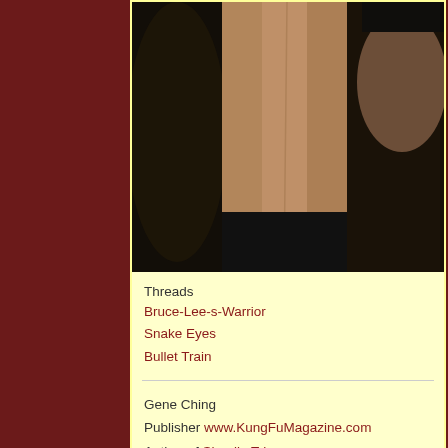[Figure (photo): Partial photo of a shirtless person (torso visible), dark background with other people blurred]
Threads
Bruce-Lee-s-Warrior
Snake Eyes
Bullet Train
Gene Ching
Publisher www.KungFuMagazine.com
Author of Shaolin Trips
Support our forum by getting your gear at MartialArtSmart
05-16-2021,   08:32 PM
GeneChing
Publisher